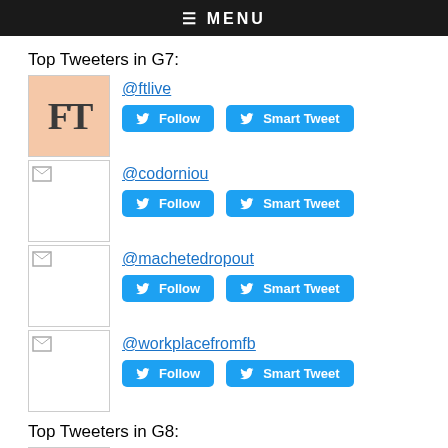≡ MENU
Top Tweeters in G7:
@ftlive
@codorniou
@machetedropout
@workplacefromfb
Top Tweeters in G8:
@intranetnow
@sstranger